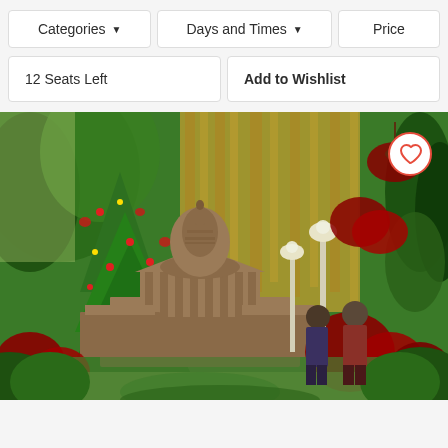Categories ▼
Days and Times ▼
Price
12 Seats Left
Add to Wishlist
[Figure (photo): Indoor botanical garden display with a detailed model of the US Capitol building surrounded by holiday decorations including a Christmas tree with red ornaments, poinsettias, and lush tropical plants. Two visitors are seen walking in the background near ornate lamp posts.]